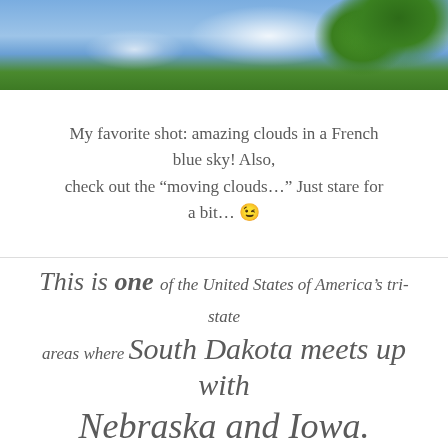[Figure (photo): Partial photo showing blue sky with white clouds and green tree foliage in upper right corner]
My favorite shot: amazing clouds in a French blue sky! Also, check out the “moving clouds…” Just stare for a bit… 😉
This is one of the United States of America’s tri-state areas where South Dakota meets up with Nebraska and Iowa. The convergence of the Big Sioux and the Missouri rivers happens a few miles down Highway 29 from where I shot these photographs,